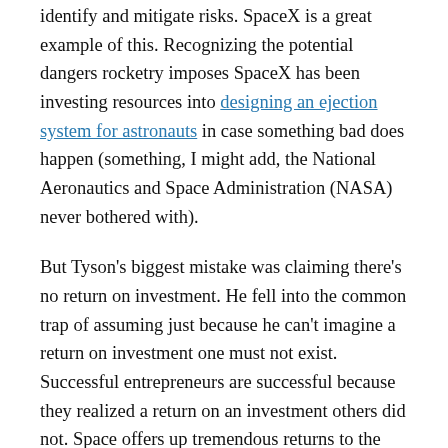identify and mitigate risks. SpaceX is a great example of this. Recognizing the potential dangers rocketry imposes SpaceX has been investing resources into designing an ejection system for astronauts in case something bad does happen (something, I might add, the National Aeronautics and Space Administration (NASA) never bothered with).
But Tyson’s biggest mistake was claiming there’s no return on investment. He fell into the common trap of assuming just because he can’t imagine a return on investment one must not exist. Successful entrepreneurs are successful because they realized a return on an investment others did not. Space offers up tremendous returns to the right entrepreneur. Astroid mining, zero gravity manufacturing, tourism, and an environment that allows a lot of research to be more easily performed are just a few returns available to entrepreneurs who get into space. Mining